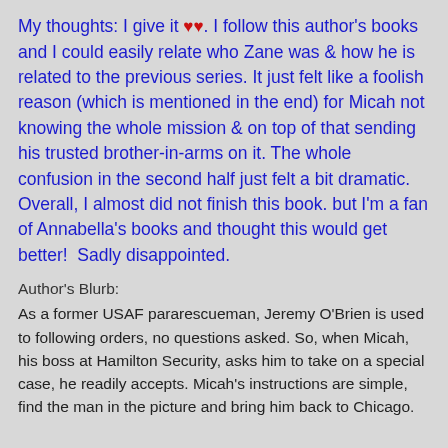My thoughts: I give it ♥♥. I follow this author's books and I could easily relate who Zane was & how he is related to the previous series. It just felt like a foolish reason (which is mentioned in the end) for Micah not knowing the whole mission & on top of that sending his trusted brother-in-arms on it. The whole confusion in the second half just felt a bit dramatic.
Overall, I almost did not finish this book. but I'm a fan of Annabella's books and thought this would get better!  Sadly disappointed.
Author's Blurb:
As a former USAF pararescueman, Jeremy O'Brien is used to following orders, no questions asked. So, when Micah, his boss at Hamilton Security, asks him to take on a special case, he readily accepts. Micah's instructions are simple, find the man in the picture and bring him back to Chicago.